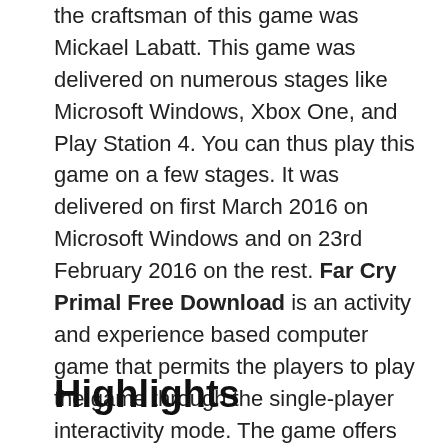the craftsman of this game was Mickael Labatt. This game was delivered on numerous stages like Microsoft Windows, Xbox One, and Play Station 4. You can thus play this game on a few stages. It was delivered on first March 2016 on Microsoft Windows and on 23rd February 2016 on the rest. Far Cry Primal Free Download is an activity and experience based computer game that permits the players to play the game through the single-player interactivity mode. The game offers various weapons to the players to assist them with performing better.
Highlights